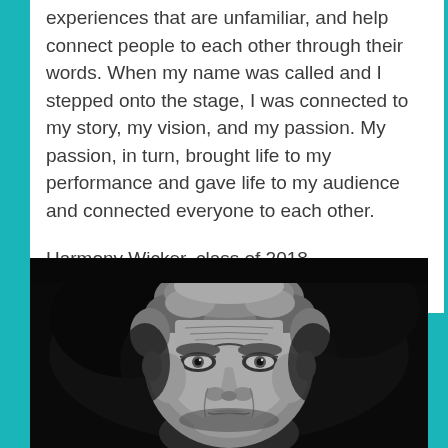experiences that are unfamiliar, and help connect people to each other through their words. When my name was called and I stepped onto the stage, I was connected to my story, my vision, and my passion. My passion, in turn, brought life to my performance and gave life to my audience and connected everyone to each other.
Harmony Wicker, class of 2018
[Figure (photo): Black and white close-up portrait photograph of an elderly man with grey hair, strong facial features, wrinkled forehead, looking directly at camera against a dark background.]